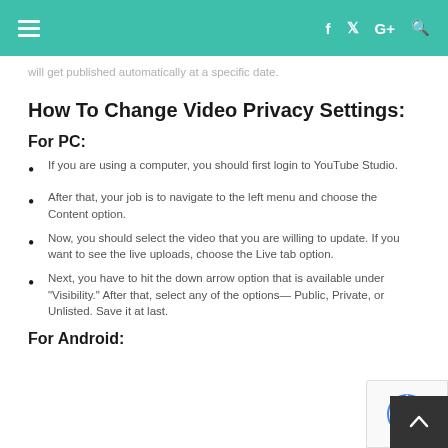≡  f  𝕏  G+  🔍
will get published automatically at a specific date.
How To Change Video Privacy Settings:
For PC:
If you are using a computer, you should first login to YouTube Studio.
After that, your job is to navigate to the left menu and choose the Content option.
Now, you should select the video that you are willing to update. If you want to see the live uploads, choose the Live tab option.
Next, you have to hit the down arrow option that is available under "Visibility." After that, select any of the options— Public, Private, or Unlisted. Save it at last.
For Android: